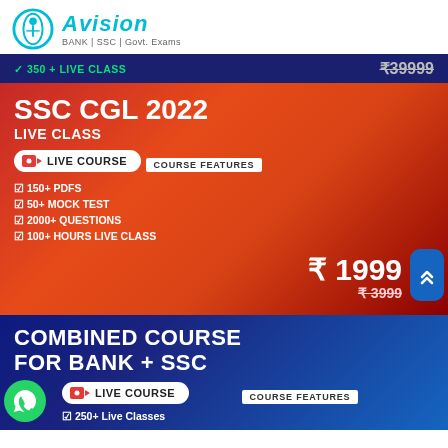[Figure (logo): Avision logo with icon and text: BANK | SSC | Govt. Exams]
[Figure (infographic): SSC CGL 2022 Live Class advertisement banner with dark blue top bar showing '350+ LIVE CLASS' and strikethrough price ₹39999, red-orange main section with course title, live course button, course features list (150+ PDFs, 50+ Mock Test, 2000+ Questions, 100+ Hours Live Class), price ₹1999 with strikethrough ₹3999]
[Figure (infographic): Combined Course for Bank + SSC advertisement banner in dark blue with live course button, course features label, and 250+ Live Classes feature item]